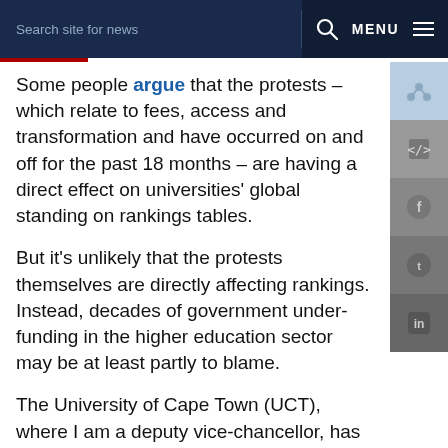Search site for news  Q  MENU
Some people argue that the protests – which relate to fees, access and transformation and have occurred on and off for the past 18 months – are having a direct effect on universities' global standing on rankings tables.
But it's unlikely that the protests themselves are directly affecting rankings. Instead, decades of government under-funding in the higher education sector may be at least partly to blame.
The University of Cape Town (UCT), where I am a deputy vice-chancellor, has handed a memorandum to the Department of Higher Education and Training. It states:
We believe that government has not